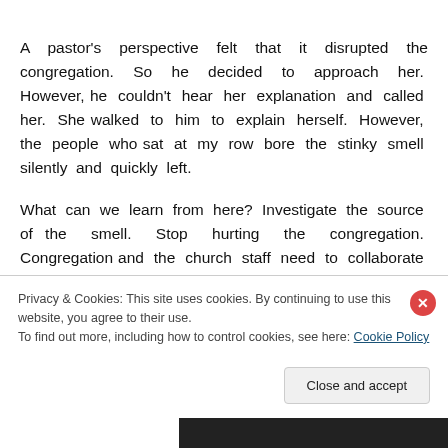A pastor's perspective felt that it disrupted the congregation. So he decided to approach her. However, he couldn't hear her explanation and called her. She walked to him to explain herself. However, the people who sat at my row bore the stinky smell silently and quickly left.
What can we learn from here? Investigate the source of the smell. Stop hurting the congregation. Congregation and the church staff need to collaborate to solve the air
Privacy & Cookies: This site uses cookies. By continuing to use this website, you agree to their use.
To find out more, including how to control cookies, see here: Cookie Policy